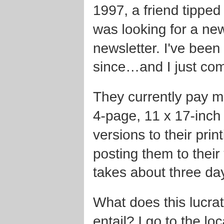1997, a friend tipped me off that a local small town was looking for a new editor for their monthly newsletter. I've been doing this publication ever since…and I just completed the 249th issue!
They currently pay me $900 a month for doing a 4-page, 11 x 17-inch newsletter, and sending versions to their printing company, while also posting them to their website. The project usually takes about three days a month.
What does this lucrative, ongoing freelance job entail? I go to the local Chamber of Commerce meeting once a month (the Chamber provides the financial support for the newsletter), pick up material at City Hall on the same day, and occasionally take a few pictures at ribbon cuttings or other events.
I then write summaries of the City Council meetings, and police and fire reports. For some issues, I write a profile of a local